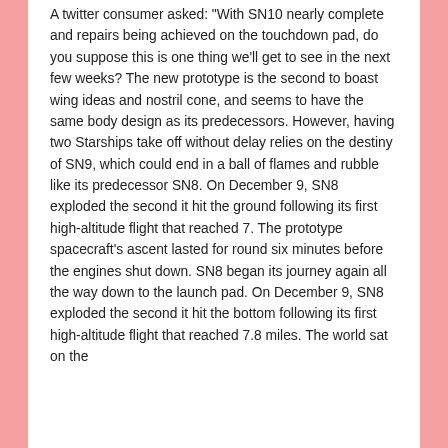A twitter consumer asked: "With SN10 nearly complete and repairs being achieved on the touchdown pad, do you suppose this is one thing we'll get to see in the next few weeks? The new prototype is the second to boast wing ideas and nostril cone, and seems to have the same body design as its predecessors. However, having two Starships take off without delay relies on the destiny of SN9, which could end in a ball of flames and rubble like its predecessor SN8. On December 9, SN8 exploded the second it hit the ground following its first high-altitude flight that reached 7. The prototype spacecraft's ascent lasted for round six minutes before the engines shut down. SN8 began its journey again all the way down to the launch pad. On December 9, SN8 exploded the second it hit the bottom following its first high-altitude flight that reached 7.8 miles. The world sat on the